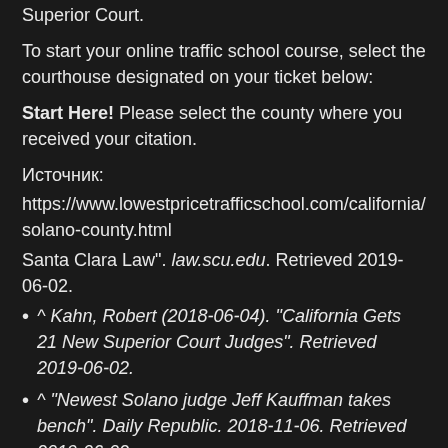Superior Court.
To start your online traffic school course, select the courthouse designated on your ticket below:
Start Here! Please select the county where you received your citation.
Источник:
https://www.lowestpricetrafficschool.com/california/solano-county.html
Santa Clara Law". law.scu.edu. Retrieved 2019-06-02.
^ Kahn, Robert (2018-06-04). "California Gets 21 New Superior Court Judges". Retrieved 2019-06-02.
^ "Newest Solano judge Jeff Kauffman takes bench". Daily Republic. 2018-11-06. Retrieved 2019-06-02.
^ "Familiar face returns to Solano County Superior Court". Daily Republic. 2019-01-04. Retrieved 2019-06-02.